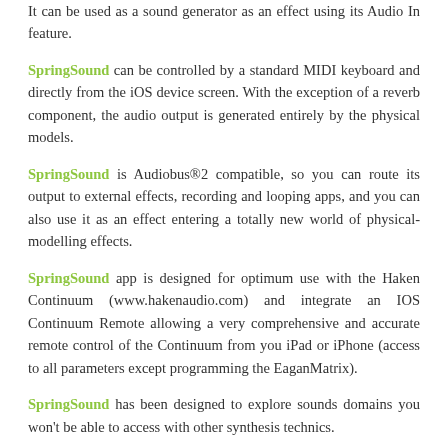It can be used as a sound generator as an effect using its Audio In feature.
SpringSound can be controlled by a standard MIDI keyboard and directly from the iOS device screen. With the exception of a reverb component, the audio output is generated entirely by the physical models.
SpringSound is Audiobus®2 compatible, so you can route its output to external effects, recording and looping apps, and you can also use it as an effect entering a totally new world of physical-modelling effects.
SpringSound app is designed for optimum use with the Haken Continuum (www.hakenaudio.com) and integrate an IOS Continuum Remote allowing a very comprehensive and accurate remote control of the Continuum from you iPad or iPhone (access to all parameters except programming the EaganMatrix).
SpringSound has been designed to explore sounds domains you won't be able to access with other synthesis technics.
It expands your sonic palette with a new world of physical sounds. It